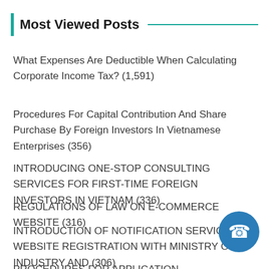Most Viewed Posts
What Expenses Are Deductible When Calculating Corporate Income Tax? (1,591)
Procedures For Capital Contribution And Share Purchase By Foreign Investors In Vietnamese Enterprises (356)
INTRODUCING ONE-STOP CONSULTING SERVICES FOR FIRST-TIME FOREIGN INVESTORS IN VIETNAM (336)
REGULATIONS OF LAW ON E-COMMERCE WEBSITE (316)
INTRODUCTION OF NOTIFICATION SERVICES, WEBSITE REGISTRATION WITH MINISTRY OF INDUSTRY AND (306)
PROCEDURES FOR APPLICATION FOR BUSINESS…